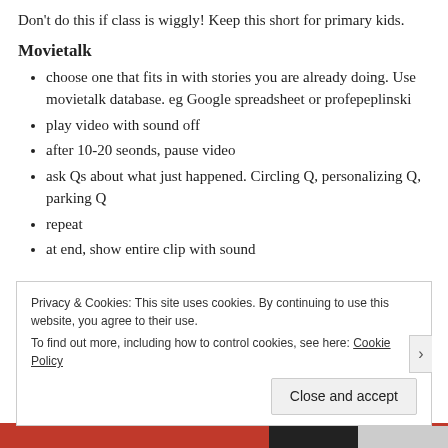Don't do this if class is wiggly! Keep this short for primary kids.
Movietalk
choose one that fits in with stories you are already doing. Use movietalk database. eg Google spreadsheet or profepeplinski
play video with sound off
after 10-20 seonds, pause video
ask Qs about what just happened. Circling Q, personalizing Q, parking Q
repeat
at end, show entire clip with sound
Privacy & Cookies: This site uses cookies. By continuing to use this website, you agree to their use.
To find out more, including how to control cookies, see here: Cookie Policy